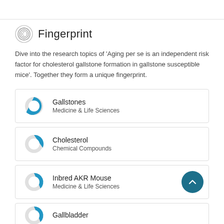Fingerprint
Dive into the research topics of 'Aging per se is an independent risk factor for cholesterol gallstone formation in gallstone susceptible mice'. Together they form a unique fingerprint.
Gallstones
Medicine & Life Sciences
Cholesterol
Chemical Compounds
Inbred AKR Mouse
Medicine & Life Sciences
Gallbladder (partially visible)